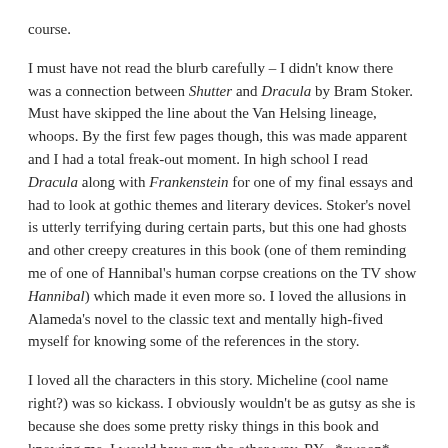course.
I must have not read the blurb carefully – I didn't know there was a connection between Shutter and Dracula by Bram Stoker. Must have skipped the line about the Van Helsing lineage, whoops. By the first few pages though, this was made apparent and I had a total freak-out moment. In high school I read Dracula along with Frankenstein for one of my final essays and had to look at gothic themes and literary devices. Stoker's novel is utterly terrifying during certain parts, but this one had ghosts and other creepy creatures in this book (one of them reminding me of one of Hannibal's human corpse creations on the TV show Hannibal) which made it even more so. I loved the allusions in Alameda's novel to the classic text and mentally high-fived myself for knowing some of the references in the story.
I loved all the characters in this story. Micheline (cool name right?) was so kickass. I obviously wouldn't be as gutsy as she is because she does some pretty risky things in this book and knowing me, I would have run the other way. RY– *swoon*. Wait, sorry lemme try that again: RY– *fans self from heart palpitations*. RYD– *fangirl screech* RY– *sobbing because he's fictional and will